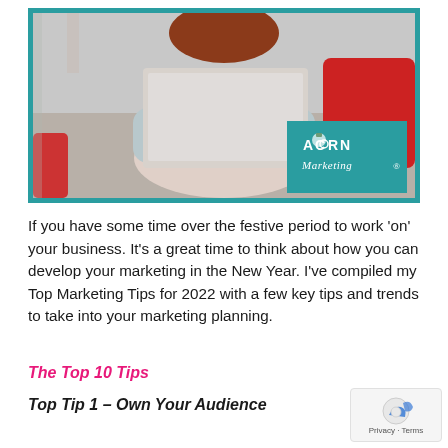[Figure (photo): Person sitting on a sofa with a laptop, red cushion visible, Acorn Marketing logo in bottom right corner of photo]
If you have some time over the festive period to work 'on' your business. It's a great time to think about how you can develop your marketing in the New Year. I've compiled my Top Marketing Tips for 2022 with a few key tips and trends to take into your marketing planning.
The Top 10 Tips
Top Tip 1 – Own Your Audience